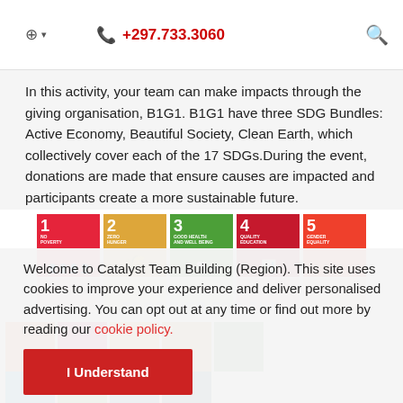🌐 ▾   📞 +297.733.3060   🔍
In this activity, your team can make impacts through the giving organisation, B1G1. B1G1 have three SDG Bundles: Active Economy, Beautiful Society, Clean Earth, which collectively cover each of the 17 SDGs.During the event, donations are made that ensure causes are impacted and participants create a more sustainable future.
[Figure (infographic): UN Sustainable Development Goals tiles strip: 1 No Poverty (red), 2 Zero Hunger (yellow), 3 Good Health and Well-being (green), 4 Quality Education (red), 5 Gender Equality (red), with reflections and additional lower SDG tiles partially visible. Watermark text: TOGETHER FOR THE]
Welcome to Catalyst Team Building (Region). This site uses cookies to improve your experience and deliver personalised advertising. You can opt out at any time or find out more by reading our cookie policy.
I Understand